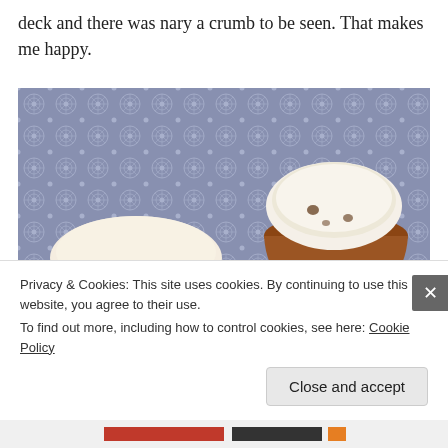deck and there was nary a crumb to be seen. That makes me happy.
[Figure (photo): Overhead photo of muffins in decorative paper liners on a blue/grey geometric patterned background. One muffin has a red and white chevron patterned wrapper (bottom left), and two muffins with brown wrappers are dusted with powdered sugar (center-bottom and upper-right).]
Privacy & Cookies: This site uses cookies. By continuing to use this website, you agree to their use.
To find out more, including how to control cookies, see here: Cookie Policy
Close and accept